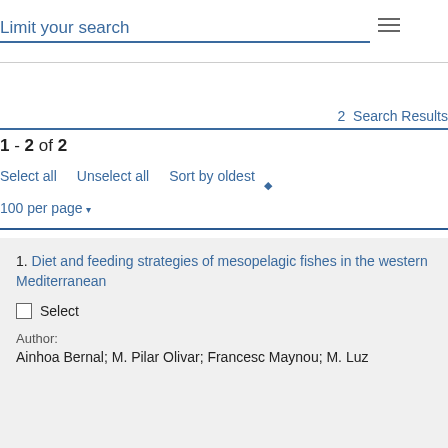Limit your search
2 Search Results
1 - 2 of 2
Select all   Unselect all   Sort by oldest
100 per page
1. Diet and feeding strategies of mesopelagic fishes in the western Mediterranean
Select
Author:
Ainhoa Bernal; M. Pilar Olivar; Francesc Maynou; M. Luz